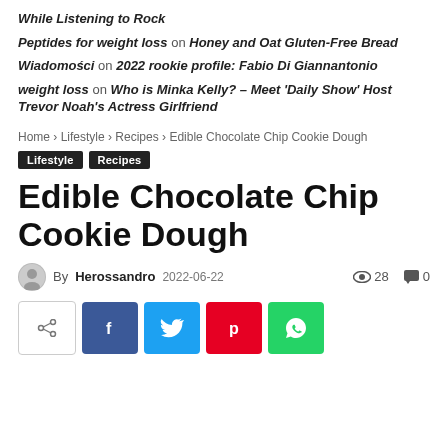While Listening to Rock
Peptides for weight loss on Honey and Oat Gluten-Free Bread
Wiadomości on 2022 rookie profile: Fabio Di Giannantonio
weight loss on Who is Minka Kelly? – Meet 'Daily Show' Host Trevor Noah's Actress Girlfriend
Home › Lifestyle › Recipes › Edible Chocolate Chip Cookie Dough
Lifestyle  Recipes
Edible Chocolate Chip Cookie Dough
By Herossandro  2022-06-22  28  0